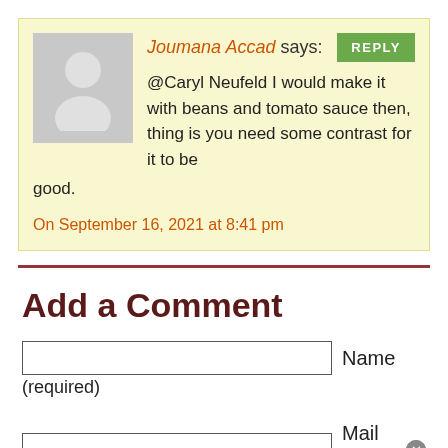Joumana Accad says: [REPLY button] @Caryl Neufeld I would make it with beans and tomato sauce then, thing is you need some contrast for it to be good. On September 16, 2021 at 8:41 pm
Add a Comment
Name (required)
Mail (will